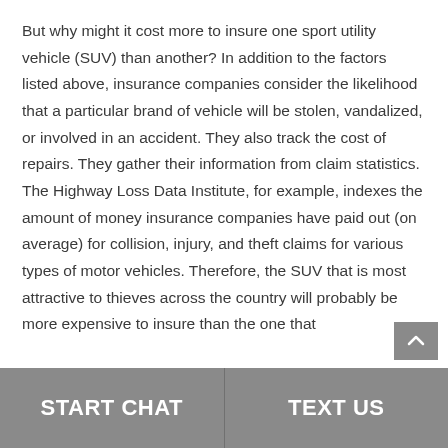But why might it cost more to insure one sport utility vehicle (SUV) than another? In addition to the factors listed above, insurance companies consider the likelihood that a particular brand of vehicle will be stolen, vandalized, or involved in an accident. They also track the cost of repairs. They gather their information from claim statistics. The Highway Loss Data Institute, for example, indexes the amount of money insurance companies have paid out (on average) for collision, injury, and theft claims for various types of motor vehicles. Therefore, the SUV that is most attractive to thieves across the country will probably be more expensive to insure than the one that
START CHAT | TEXT US